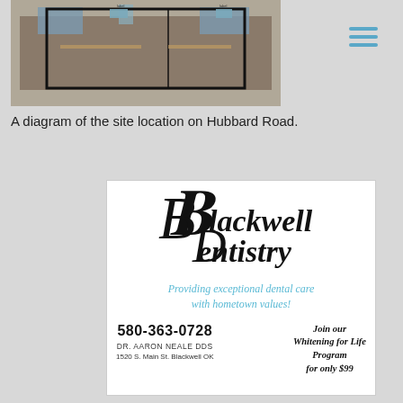[Figure (photo): Aerial/plan diagram of a site location on Hubbard Road showing road markings and structures.]
A diagram of the site location on Hubbard Road.
[Figure (logo): Blackwell Dentistry advertisement featuring logo, tagline 'Providing exceptional dental care with hometown values!', phone 580-363-0728, DR. AARON NEALE DDS, 1520 S. Main St. Blackwell OK, and promo 'Join our Whitening for Life Program for only $99']